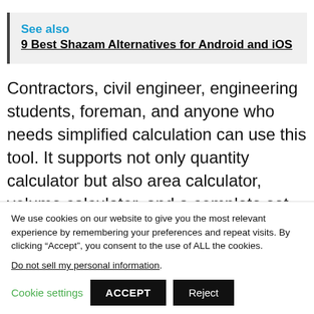See also  9 Best Shazam Alternatives for Android and iOS
Contractors, civil engineer, engineering students, foreman, and anyone who needs simplified calculation can use this tool. It supports not only quantity calculator but also area calculator, volume calculator, and a complete set of unit converter
We use cookies on our website to give you the most relevant experience by remembering your preferences and repeat visits. By clicking “Accept”, you consent to the use of ALL the cookies.
Do not sell my personal information.
Cookie settings  ACCEPT  Reject